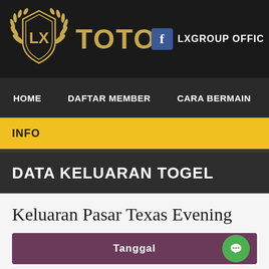[Figure (logo): LX TOTO logo with golden shield emblem and wheat/laurel decoration on dark background, with Facebook LXGROUP OFFIC link on the right]
HOME   DAFTAR MEMBER   CARA BERMAIN
INFO
DATA KELUARAN TOGEL
Keluaran Pasar Texas Evening
| Tanggal |
| --- |